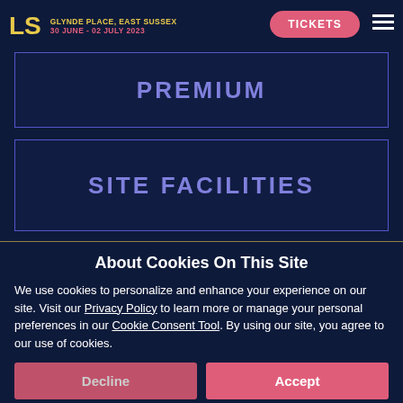LS | GLYNDE PLACE, EAST SUSSEX | 30 JUNE - 02 JULY 2023 | TICKETS
PREMIUM
SITE FACILITIES
About Cookies On This Site
We use cookies to personalize and enhance your experience on our site. Visit our Privacy Policy to learn more or manage your personal preferences in our Cookie Consent Tool. By using our site, you agree to our use of cookies.
Decline
Accept
Options